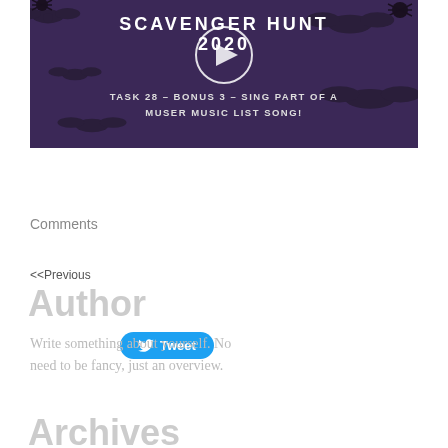[Figure (screenshot): Video thumbnail with dark purple background, bats and spiders decorations. Text reads: SCAVENGER HUNT 2020. TASK 28 - BONUS 3 - SING PART OF A MUSER MUSIC LIST SONG! A play button circle is visible in the center.]
Tweet
Comments
<<Previous
Author
Write something about yourself. No need to be fancy, just an overview.
Archives